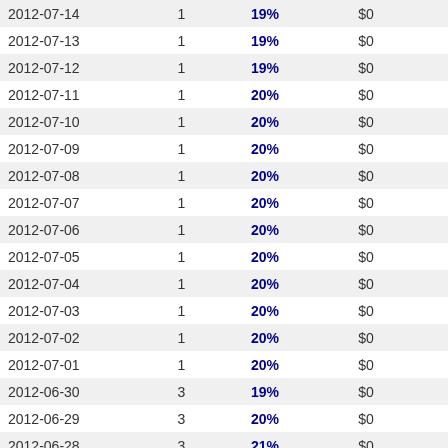| Date | Count | Pct | Amount | Change |
| --- | --- | --- | --- | --- |
| 2012-07-14 | 1 | 19% | $0 | -- |
| 2012-07-13 | 1 | 19% | $0 | -- |
| 2012-07-12 | 1 | 19% | $0 | -- |
| 2012-07-11 | 1 | 20% | $0 | -- |
| 2012-07-10 | 1 | 20% | $0 | -- |
| 2012-07-09 | 1 | 20% | $0 | -- |
| 2012-07-08 | 1 | 20% | $0 | -- |
| 2012-07-07 | 1 | 20% | $0 | -- |
| 2012-07-06 | 1 | 20% | $0 | -- |
| 2012-07-05 | 1 | 20% | $0 | -- |
| 2012-07-04 | 1 | 20% | $0 | -- |
| 2012-07-03 | 1 | 20% | $0 | -- |
| 2012-07-02 | 1 | 20% | $0 | -- |
| 2012-07-01 | 1 | 20% | $0 | -- |
| 2012-06-30 | 3 | 19% | $0 | -- |
| 2012-06-29 | 3 | 20% | $0 | -- |
| 2012-06-28 | 3 | 21% | $0 | -- |